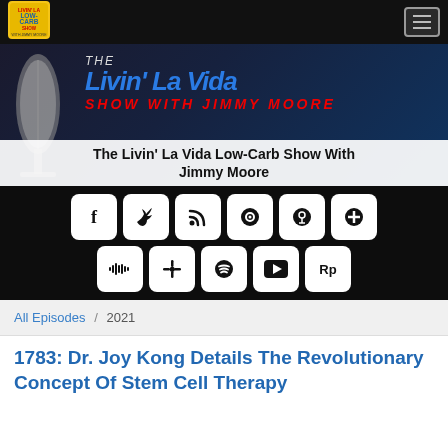[Figure (logo): Livin' La Vida Low-Carb Show logo - colorful square badge]
[Figure (screenshot): The Livin' La Vida Low-Carb Show With Jimmy Moore banner with microphone and stylized text]
[Figure (infographic): Podcast platform social sharing icons on black background: Facebook, Twitter, RSS, Castbox, Apple Podcasts, Add, Stitcher, Google Podcasts, Spotify, YouTube, RadioPublic]
All Episodes / 2021
1783: Dr. Joy Kong Details The Revolutionary Concept Of Stem Cell Therapy